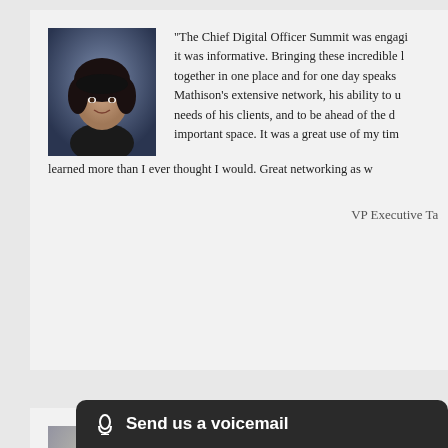[Figure (photo): Headshot of a woman with dark hair wearing black, against a blue-grey background]
“The Chief Digital Officer Summit was engagi it was informative. Bringing these incredible l together in one place and for one day speaks Mathison’s extensive network, his ability to u needs of his clients, and to be ahead of the d important space. It was a great use of my tim learned more than I ever thought I would. Great networking as w
VP Executive Ta
[Figure (photo): Headshot of a woman with curly dark hair, smiling, outdoors]
“The Chief Digital Officer Summit was a v topic for today’s times. I was impressed b and diversity of the panel speakers, all of s A o
Send us a voicemail